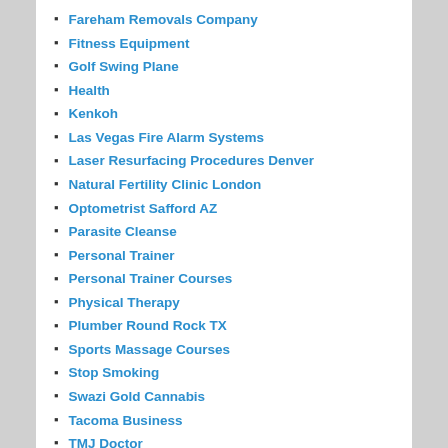Fareham Removals Company
Fitness Equipment
Golf Swing Plane
Health
Kenkoh
Las Vegas Fire Alarm Systems
Laser Resurfacing Procedures Denver
Natural Fertility Clinic London
Optometrist Safford AZ
Parasite Cleanse
Personal Trainer
Personal Trainer Courses
Physical Therapy
Plumber Round Rock TX
Sports Massage Courses
Stop Smoking
Swazi Gold Cannabis
Tacoma Business
TMJ Doctor
whittier family dental
Wholesale CBD